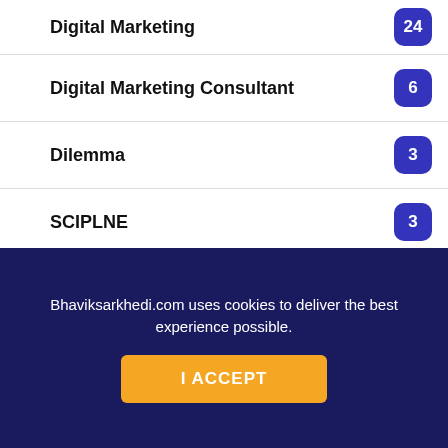Digital Marketing — 24
Digital Marketing Consultant — 6
Dilemma — 3
DISCIPLINE — 3
ream — 3
ream Big — 2
ook Writing — 1
Fear
Food
Bhaviksarkhedi.com uses cookies to deliver the best experience possible.
I ACCEPT